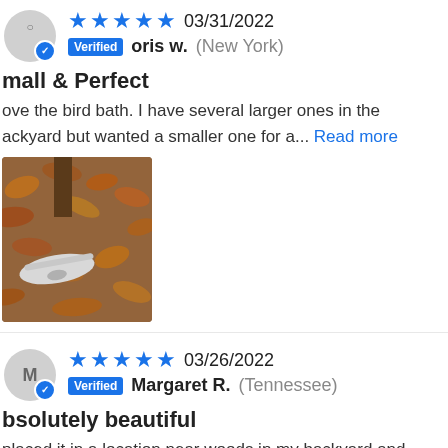★★★★★ 03/31/2022 Verified oris w. (New York)
Small & Perfect
I love the bird bath. I have several larger ones in the backyard but wanted a smaller one for a... Read more
[Figure (photo): Photo of a bird bath placed on ground among autumn leaves near a tree]
★★★★★ 03/26/2022 Verified Margaret R. (Tennessee)
Absolutely beautiful
I placed it in a location near woods in my backyard and looks great. Of high quality and beautiful to look at.